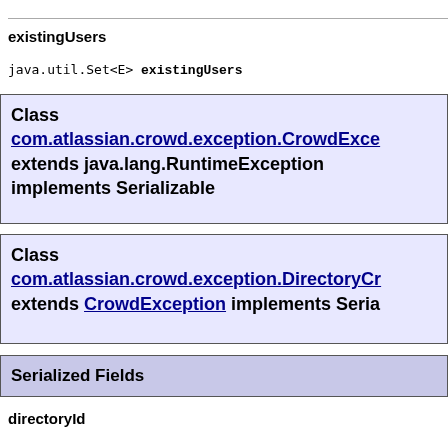existingUsers
java.util.Set<E> existingUsers
Class com.atlassian.crowd.exception.CrowdExce extends java.lang.RuntimeException implements Serializable
Class com.atlassian.crowd.exception.DirectoryCr extends CrowdException implements Seria
Serialized Fields
directoryId